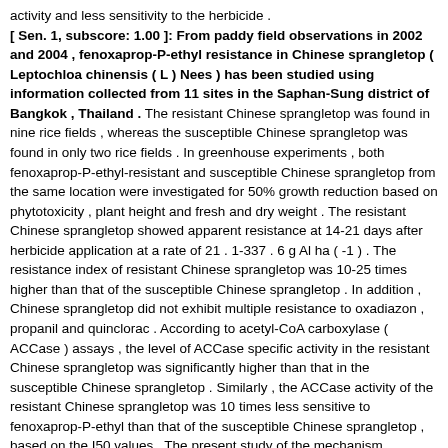activity and less sensitivity to the herbicide . [ Sen. 1, subscore: 1.00 ]: From paddy field observations in 2002 and 2004 , fenoxaprop-P-ethyl resistance in Chinese sprangletop ( Leptochloa chinensis ( L ) Nees ) has been studied using information collected from 11 sites in the Saphan-Sung district of Bangkok , Thailand . The resistant Chinese sprangletop was found in nine rice fields , whereas the susceptible Chinese sprangletop was found in only two rice fields . In greenhouse experiments , both fenoxaprop-P-ethyl-resistant and susceptible Chinese sprangletop from the same location were investigated for 50% growth reduction based on phytotoxicity , plant height and fresh and dry weight . The resistant Chinese sprangletop showed apparent resistance at 14-21 days after herbicide application at a rate of 21 . 1-337 . 6 g Al ha ( -1 ) . The resistance index of resistant Chinese sprangletop was 10-25 times higher than that of the susceptible Chinese sprangletop . In addition , Chinese sprangletop did not exhibit multiple resistance to oxadiazon , propanil and quinclorac . According to acetyl-CoA carboxylase ( ACCase ) assays , the level of ACCase specific activity in the resistant Chinese sprangletop was significantly higher than that in the susceptible Chinese sprangletop . Similarly , the ACCase activity of the resistant Chinese sprangletop was 10 times less sensitive to fenoxaprop-P-ethyl than that of the susceptible Chinese sprangletop , based on the I50 values . The present study of the mechanism responsible for resistance in the biotypes investigated indicated that there was a close association between the concentration-response at the whole-plant level and ACCase sensitivity to fenoxaprop-P-ethyl , and resistance to fenoxaprop-P-ethyl was conferred by a modified ACCase at the target site , as suggested by higher specific activity and less sensitivity to the herbicide . [ Sen. 3, subscore: 1.00 ]: From paddy field observations in 2002 and 2004 , fenoxaprop-P-ethyl resistance in Chinese sprangletop (